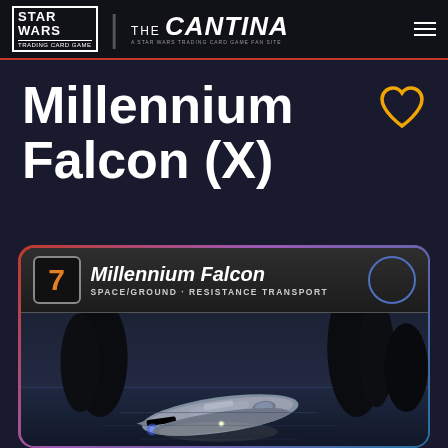Star Wars Trading Card Game — The Cantina
Millennium Falcon (X)
[Figure (screenshot): Trading card showing Millennium Falcon — card number 7, Space/Ground - Resistance Transport, with an image of the Millennium Falcon flying over a dark ocean landscape with rocky formations in the background.]